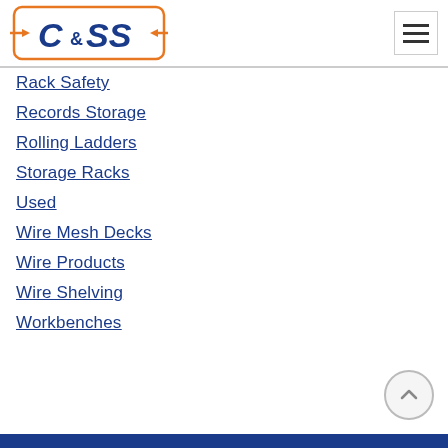[Figure (logo): C&S logo with orange border and connector symbols]
Rack Safety
Records Storage
Rolling Ladders
Storage Racks
Used
Wire Mesh Decks
Wire Products
Wire Shelving
Workbenches